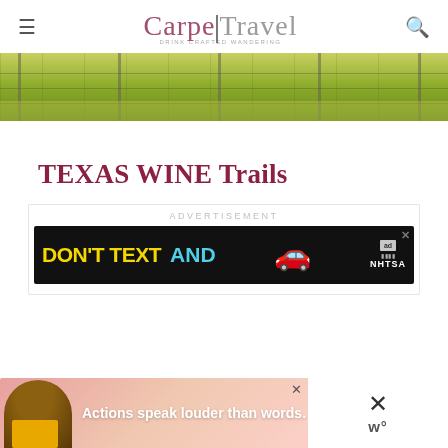CarpeTravel
[Figure (photo): Outdoor scene showing green fields/vineyard with fence posts and wire fencing, yellow-green grass in foreground]
TEXAS WINE Trails
ADVERTISEMENT
[Figure (other): NHTSA advertisement banner: DON'T TEXT AND (drive) with red car emoji on black background]
[Figure (other): Advertisement: Actions speak louder than words. Shows person in yellow shirt on pink/red background]